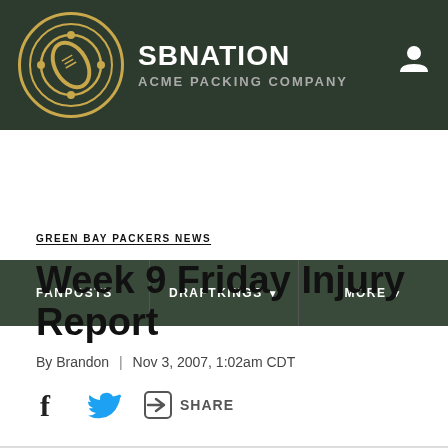SBNATION / ACME PACKING COMPANY
GREEN BAY PACKERS NEWS
Week 9 Friday Injury Report
By Brandon | Nov 3, 2007, 1:02am CDT